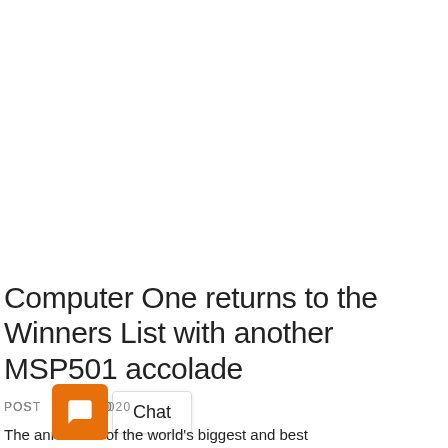Computer One returns to the Winners List with another MSP501 accolade
POSTED AUG 2020
The annual list of the world's biggest and best